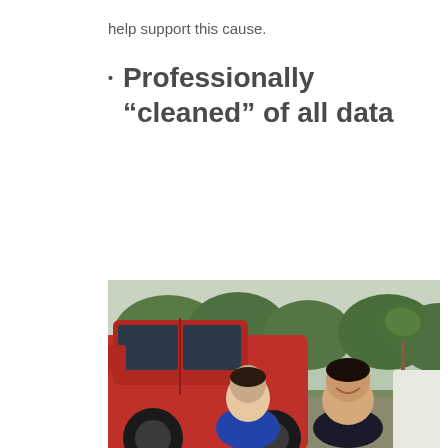help support this cause.
Professionally “cleaned” of all data
[Figure (photo): Two men standing outdoors in front of a red pickup truck, with trees and greenery in the background. A white vehicle is visible on the right side.]